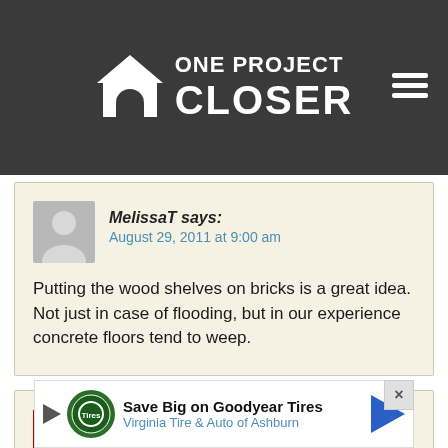ONE PROJECT CLOSER
MelissaT says:
August 29, 2011 at 9:00 am

Putting the wood shelves on bricks is a great idea. Not just in case of flooding, but in our experience concrete floors tend to weep.
MIke says:
September 20, 2011 at 1:00...
[Figure (screenshot): Ad banner: Save Big on Goodyear Tires - Virginia Tire & Auto of Ashburn]